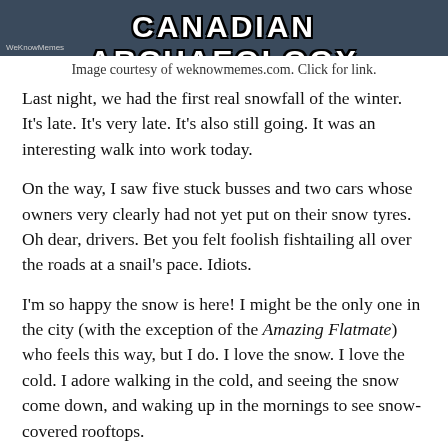[Figure (photo): Meme image with text 'CANADIAN ARCHAEOLOGY' on dark blue background with WeKnowMemes watermark]
Image courtesy of weknowmemes.com. Click for link.
Last night, we had the first real snowfall of the winter.  It's late.  It's very late.  It's also still going.  It was an interesting walk into work today.
On the way, I saw five stuck busses and two cars whose owners very clearly had not yet put on their snow tyres.  Oh dear, drivers.  Bet you felt foolish fishtailing all over the roads at a snail's pace.  Idiots.
I'm so happy the snow is here!  I might be the only one in the city (with the exception of the Amazing Flatmate) who feels this way, but I do.  I love the snow.  I love the cold.  I adore walking in the cold, and seeing the snow come down, and waking up in the mornings to see snow-covered rooftops.
I like going snow shoeing.  I'm less of a fan of downhill skiing, but I'd like to give Nordic skiing a shot.  Nothing appeals to me more than going out for a walk in the snow, then returning home to a hot drink